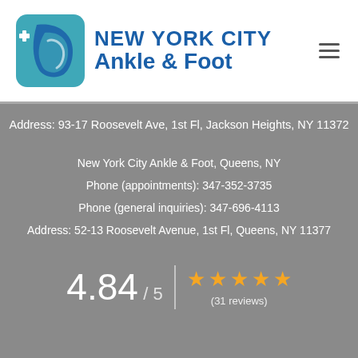[Figure (logo): New York City Ankle & Foot logo with stylized foot icon in teal/blue and text in dark blue]
Address: 93-17 Roosevelt Ave, 1st Fl, Jackson Heights, NY 11372
New York City Ankle & Foot, Queens, NY
Phone (appointments): 347-352-3735
Phone (general inquiries): 347-696-4113
Address: 52-13 Roosevelt Avenue, 1st Fl, Queens, NY 11377
4.84 / 5  ★★★★★  (31 reviews)